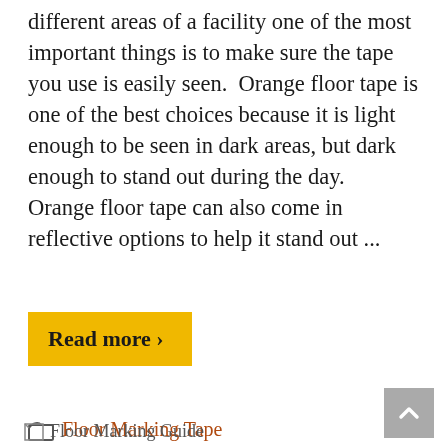different areas of a facility one of the most important things is to make sure the tape you use is easily seen.  Orange floor tape is one of the best choices because it is light enough to be seen in dark areas, but dark enough to stand out during the day.   Orange floor tape can also come in reflective options to help it stand out ...
Read more ›
Floor Marking Tape
Facility Marking, Floor Marking
[Figure (other): Floor Marking Guide image placeholder with broken image icon]